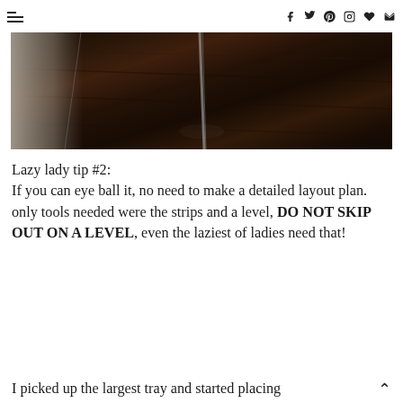[navigation menu icon] [social icons: f, twitter, pinterest, instagram, heart, envelope]
[Figure (photo): A close-up photo of dark hardwood flooring with a baseboard on the left and a tool handle (mop or level) visible in the center-right, lit from above creating a dark atmospheric shot.]
Lazy lady tip #2:
If you can eye ball it, no need to make a detailed layout plan.
only tools needed were the strips and a level, DO NOT SKIP OUT ON A LEVEL, even the laziest of ladies need that!
I picked up the largest tray and started placing